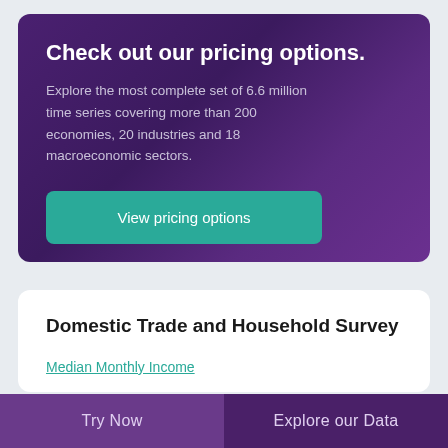Check out our pricing options.
Explore the most complete set of 6.6 million time series covering more than 200 economies, 20 industries and 18 macroeconomic sectors.
View pricing options
Domestic Trade and Household Survey
Median Monthly Income
Average Monthly Income and Expenditure
Try Now   Explore our Data